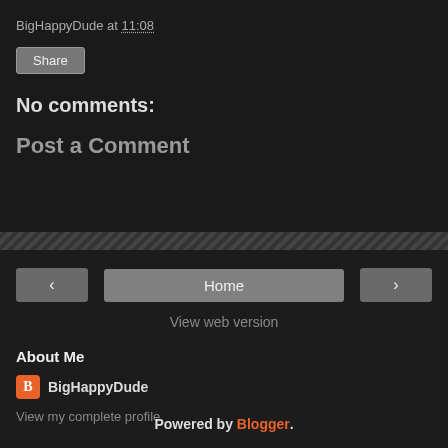BigHappyDude at 11:08
Share
No comments:
Post a Comment
< Home >
View web version
About Me
BigHappyDude
View my complete profile
Powered by Blogger.